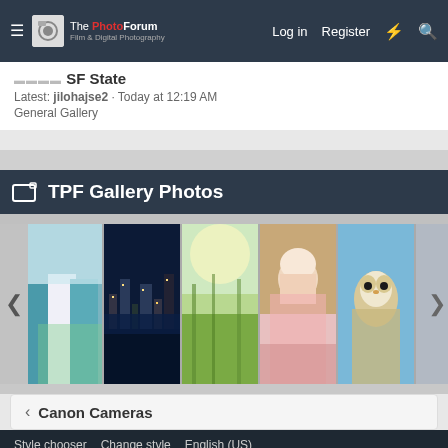The PhotoForum — Film & Digital Photography | Log in | Register
SF State
Latest: jilohajse2 · Today at 12:19 AM
General Gallery
TPF Gallery Photos
[Figure (photo): Photo gallery strip showing 6 thumbnail photos: bridesmaids in teal dresses, city skyline at night, field with sunlight, baby in pink, barn owl, and a gray sky with navigation arrow]
< Canon Cameras
Style chooser  Change style  English (US)
Contact us  Terms and rules  Privacy policy  Help
Community platform by XenForo® © 2010-2021 XenForo Ltd.